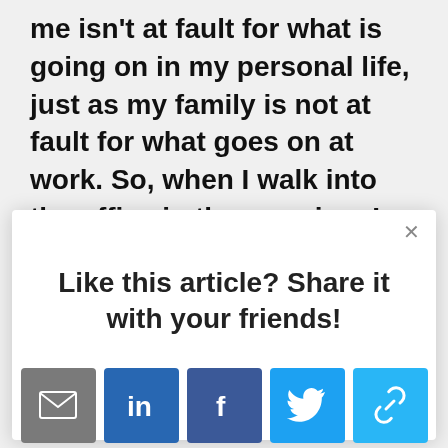me isn't at fault for what is going on in my personal life, just as my family is not at fault for what goes on at work. So, when I walk into the office in the morning, I check myself as I walk through
Like this article? Share it with your friends!
[Figure (other): Social share buttons: email (grey), LinkedIn (blue), Facebook (dark blue), Twitter (light blue), link (cyan)]